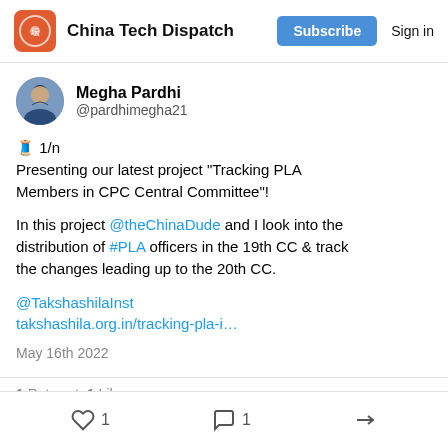China Tech Dispatch | Subscribe | Sign in
Megha Pardhi @pardhimegha21
🧵 1/n
Presenting our latest project "Tracking PLA Members in CPC Central Committee"!

In this project @theChinaDude and I look into the distribution of #PLA officers in the 19th CC & track the changes leading up to the 20th CC.

@TakshashilaInst
takshashila.org.in/tracking-pla-i…

May 16th 2022
1 Retweet  1 Like
1  1